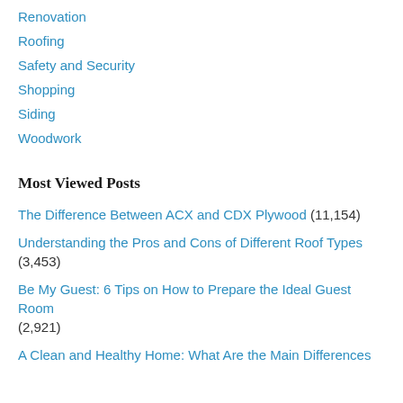Renovation
Roofing
Safety and Security
Shopping
Siding
Woodwork
Most Viewed Posts
The Difference Between ACX and CDX Plywood (11,154)
Understanding the Pros and Cons of Different Roof Types (3,453)
Be My Guest: 6 Tips on How to Prepare the Ideal Guest Room (2,921)
A Clean and Healthy Home: What Are the Main Differences